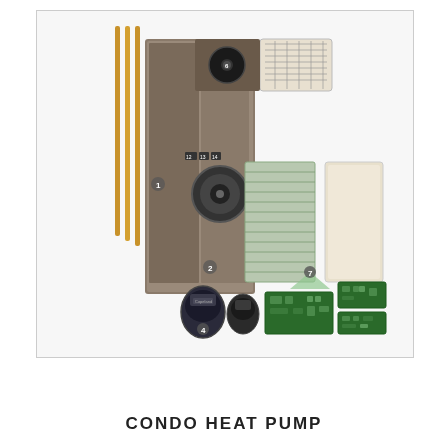[Figure (engineering-diagram): Exploded-view diagram of a condo heat pump unit showing numbered components including the main cabinet/chassis (1), refrigerant pipes (vertical copper tubes), fan assembly (12, 13, 14 labels on control connections), blower/fan motor (2), compressors (4, 6), coil/filter assemblies, control circuit boards (7), grille/return air panel, and access panel.]
CONDO HEAT PUMP